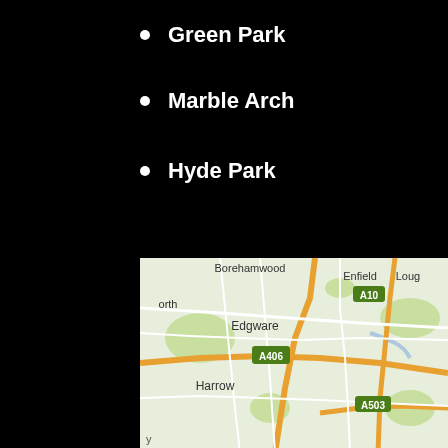Green Park
Marble Arch
Hyde Park
[Figure (map): Google Maps screenshot showing north London area including Elstree/Borehamwood, Enfield, Edgware, Harrow, with A10, A406, A503 road markers]
We use cookies to enhance your experience while using our website. To learn more about the cookies we use and the data we collect, please check our Privacy Settings.
I Accept